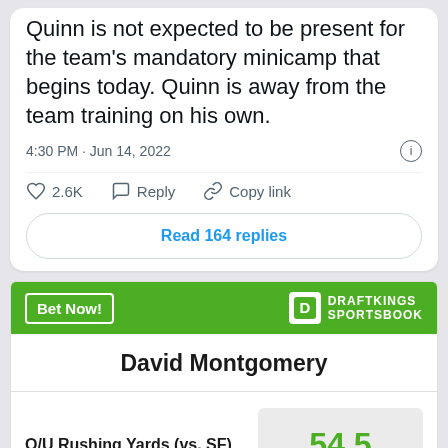Quinn is not expected to be present for the team's mandatory minicamp that begins today. Quinn is away from the team training on his own.
4:30 PM · Jun 14, 2022
2.6K  Reply  Copy link
Read 164 replies
Bet Now!
DRAFTKINGS SPORTSBOOK
David Montgomery
| Stat | Value |
| --- | --- |
| O/U Rushing Yards (vs. SF) | 54.5 |
| O/U Longest Rush (vs. SF) | 12.5 |